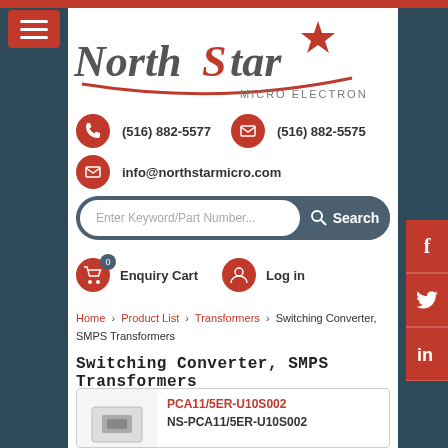[Figure (logo): NorthStar Micro Electronics logo with red star and red arc underline]
(516) 882-5577
(516) 882-5575
info@northstarmicro.com
Enter Keyword/Part Number...  Search
Enquiry Cart  0  Log in
Home › Product List › Transformers › Switching Converter, SMPS Transformers
Switching Converter, SMPS Transformers
PCA11/5ER-U10S002
NS-PCA11/5ER-U10S002